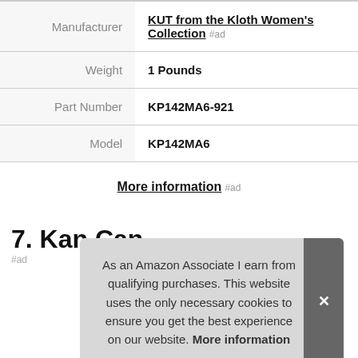| Attribute | Value |
| --- | --- |
| Manufacturer | KUT from the Kloth Women's Collection #ad |
| Weight | 1 Pounds |
| Part Number | KP142MA6-921 |
| Model | KP142MA6 |
More information #ad
7. Kan Can
As an Amazon Associate I earn from qualifying purchases. This website uses the only necessary cookies to ensure you get the best experience on our website. More information